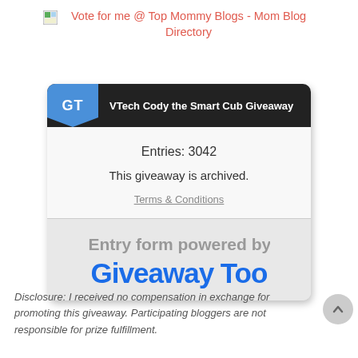[Figure (screenshot): Vote for me @ Top Mommy Blogs - Mom Blog Directory link with small image icon]
[Figure (screenshot): Giveaway Tools widget showing 'VTech Cody the Smart Cub Giveaway' with Entries: 3042, archived status, Terms & Conditions link, and 'Entry form powered by Giveaway Too...' branding (partially cut off)]
Disclosure: I received no compensation in exchange for promoting this giveaway. Participating bloggers are not responsible for prize fulfillment.